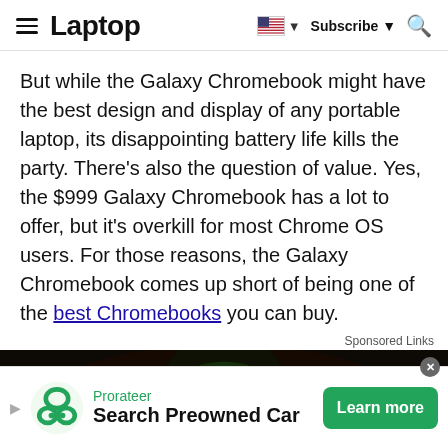Laptop — Subscribe
But while the Galaxy Chromebook might have the best design and display of any portable laptop, its disappointing battery life kills the party. There's also the question of value. Yes, the $999 Galaxy Chromebook has a lot to offer, but it's overkill for most Chrome OS users. For those reasons, the Galaxy Chromebook comes up short of being one of the best Chromebooks you can buy.
Sponsored Links
[Figure (photo): Dark advertisement image with green glowing mechanical/robotic figure on dark background]
[Figure (infographic): Bottom banner ad: Prorateer — Search Preowned Car — Learn more button]